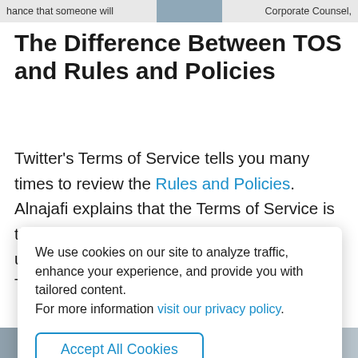hance that someone will   Corporate Counsel,
The Difference Between TOS and Rules and Policies
Twitter’s Terms of Service tells you many times to review the Rules and Policies. Alnajafi explains that the Terms of Service is the legal agreement between Twitter and the user. But the Rules and Policies are where Twitter tells
We use cookies on our site to analyze traffic, enhance your experience, and provide you with tailored content.
For more information visit our privacy policy.

Accept All Cookies